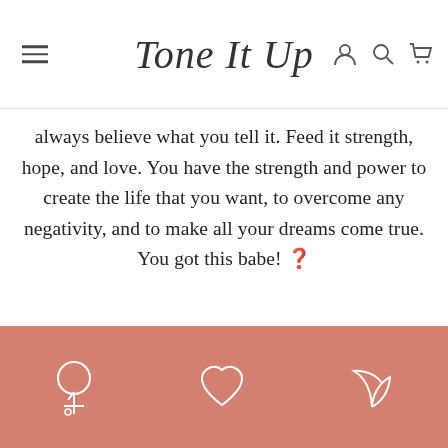Tone It Up
always believe what you tell it. Feed it strength, hope, and love. You have the strength and power to create the life that you want, to overcome any negativity, and to make all your dreams come true. You got this babe! 🏋
XXO,
Karena
[Figure (infographic): Pink footer bar with three white outline icons: female symbol, heart, and plant/leaf symbol]